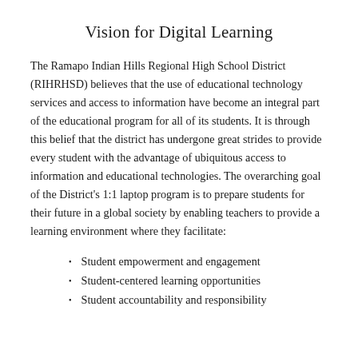Vision for Digital Learning
The Ramapo Indian Hills Regional High School District (RIHRHSD) believes that the use of educational technology services and access to information have become an integral part of the educational program for all of its students. It is through this belief that the district has undergone great strides to provide every student with the advantage of ubiquitous access to information and educational technologies. The overarching goal of the District's 1:1 laptop program is to prepare students for their future in a global society by enabling teachers to provide a learning environment where they facilitate:
Student empowerment and engagement
Student-centered learning opportunities
Student accountability and responsibility